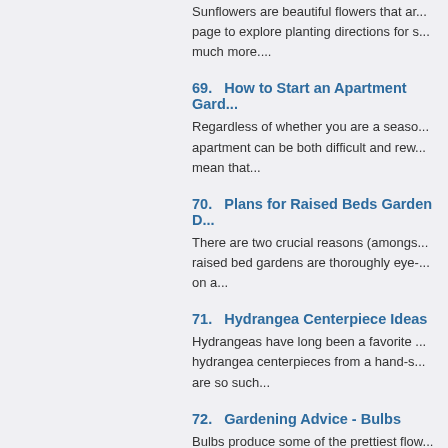Sunflowers are beautiful flowers that ar... page to explore planting directions for s... much more....
69.   How to Start an Apartment Gard...
Regardless of whether you are a seaso... apartment can be both difficult and rew... mean that...
70.   Plans for Raised Beds Garden D...
There are two crucial reasons (amongs... raised bed gardens are thoroughly eye-... on a...
71.   Hydrangea Centerpiece Ideas
Hydrangeas have long been a favorite ... hydrangea centerpieces from a hand-s... are so such...
72.   Gardening Advice - Bulbs
Bulbs produce some of the prettiest flow...